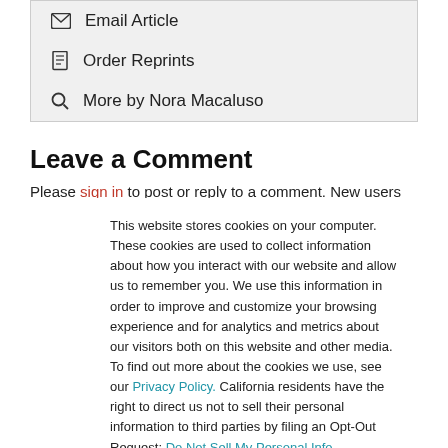Email Article
Order Reprints
More by Nora Macaluso
Leave a Comment
Please sign in to post or reply to a comment. New users
This website stores cookies on your computer. These cookies are used to collect information about how you interact with our website and allow us to remember you. We use this information in order to improve and customize your browsing experience and for analytics and metrics about our visitors both on this website and other media. To find out more about the cookies we use, see our Privacy Policy. California residents have the right to direct us not to sell their personal information to third parties by filing an Opt-Out Request: Do Not Sell My Personal Info.
Accept